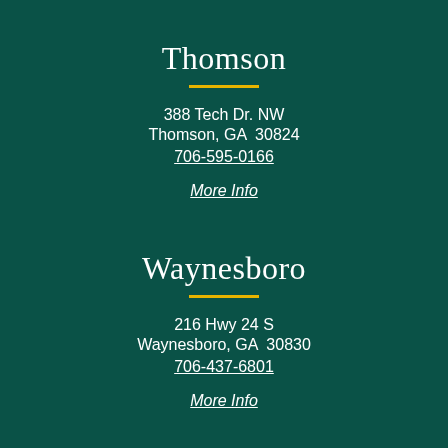Thomson
388 Tech Dr. NW
Thomson, GA  30824
706-595-0166
More Info
Waynesboro
216 Hwy 24 S
Waynesboro, GA  30830
706-437-6801
More Info